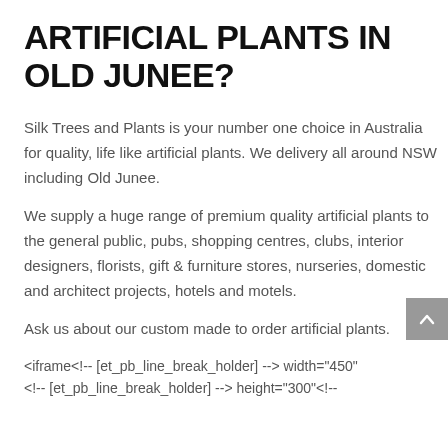ARTIFICIAL PLANTS IN OLD JUNEE?
Silk Trees and Plants is your number one choice in Australia for quality, life like artificial plants. We delivery all around NSW including Old Junee.
We supply a huge range of premium quality artificial plants to the general public, pubs, shopping centres, clubs, interior designers, florists, gift & furniture stores, nurseries, domestic and architect projects, hotels and motels.
Ask us about our custom made to order artificial plants.
<iframe<!-- [et_pb_line_break_holder] --> width="450" <!-- [et_pb_line_break_holder] --> height="300"<!--